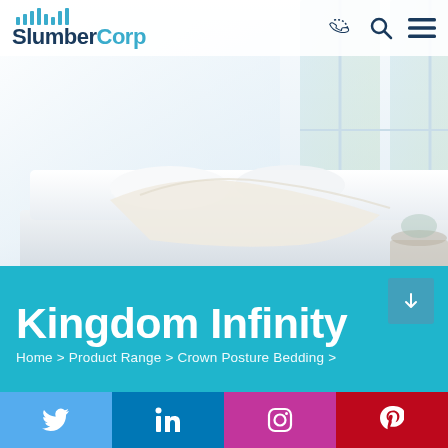[Figure (logo): SlumberCorp logo with blue signal bar graphic and two-tone text: 'Slumber' in dark navy, 'Corp' in teal/cyan]
[Figure (photo): Hero image of a white bed with white bedding and a cream throw blanket, in a bright airy room with large windows]
Kingdom Infinity
Home > Product Range > Crown Posture Bedding >
[Figure (infographic): Social media bar with four buttons: Twitter (blue), LinkedIn (dark blue), Instagram (pink/magenta), Pinterest (red), each with their respective icons]